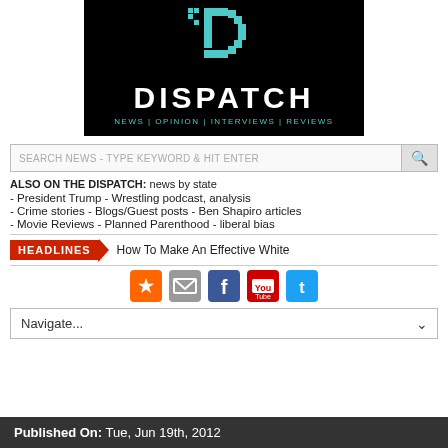[Figure (logo): Dispatch news website logo: black background with teal/cyan pixel-art D icon above, white bold text DISPATCH, teal tagline NEWS | OPINION | INTERVIEWS | REVIEWS]
SEARCH NEWS - TYPE KEYWORD & HIT ENTER
ALSO ON THE DISPATCH: news by state
- President Trump - Wrestling podcast, analysis
- Crime stories - Blogs/Guest posts - Ben Shapiro articles
- Movie Reviews - Planned Parenthood - liberal bias
HEADLINES How To Make An Effective White
[Figure (infographic): Social media icons row: RSS (orange), Email (grey), Facebook (blue), YouTube (red), Twitter (blue)]
Navigate...
Published On: Tue, Jun 19th, 2012